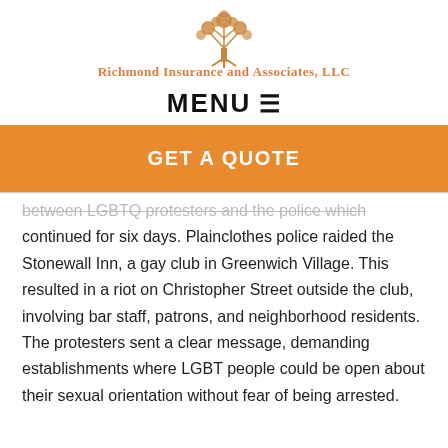[Figure (logo): Richmond Insurance and Associates, LLC logo with a decorative tree illustration above the company name in orange]
MENU ≡
GET A QUOTE
between LGBTQ protesters and the police which continued for six days. Plainclothes police raided the Stonewall Inn, a gay club in Greenwich Village. This resulted in a riot on Christopher Street outside the club, involving bar staff, patrons, and neighborhood residents. The protesters sent a clear message, demanding establishments where LGBT people could be open about their sexual orientation without fear of being arrested.